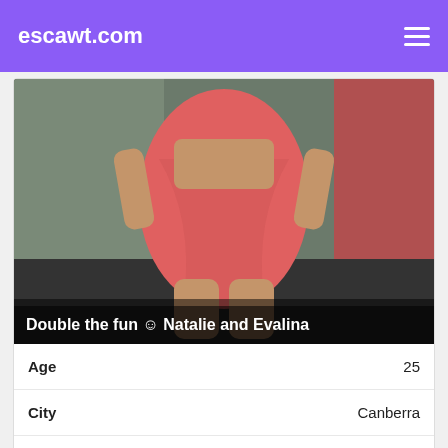escawt.com
[Figure (photo): A person wearing a pink/coral dress, photo cropped to show torso and legs, standing in a hallway.]
Double the fun 😊 Natalie and Evalina
| Age | 25 |
| City | Canberra |
| Category | Female Escort |